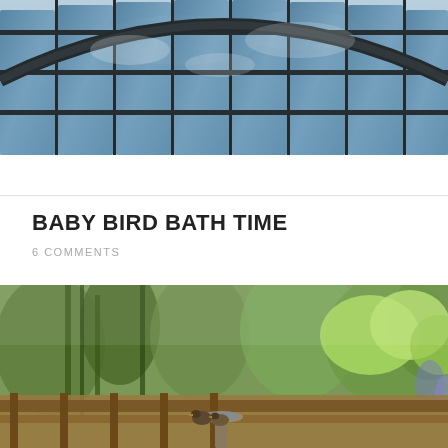[Figure (photo): Looking up at a modern glass office building with curved steel frame and reflective windows showing blue sky and clouds]
BABY BIRD BATH TIME
6 COMMENTS
[Figure (photo): Garden scene with trees, green foliage, and two small birds sitting on the edge of a bird bath in soft focus background]